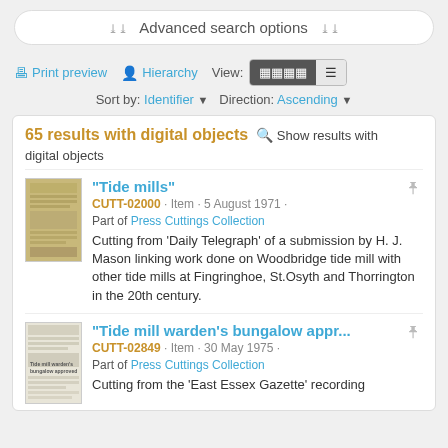Advanced search options
Print preview   Hierarchy   View:   Sort by: Identifier ▼   Direction: Ascending ▼
65 results with digital objects   Show results with digital objects
"Tide mills"
CUTT-02000 · Item · 5 August 1971 · Part of Press Cuttings Collection
Cutting from 'Daily Telegraph' of a submission by H. J. Mason linking work done on Woodbridge tide mill with other tide mills at Fingringhoe, St.Osyth and Thorrington in the 20th century.
"Tide mill warden's bungalow appr...
CUTT-02849 · Item · 30 May 1975 · Part of Press Cuttings Collection
Cutting from the 'East Essex Gazette' recording